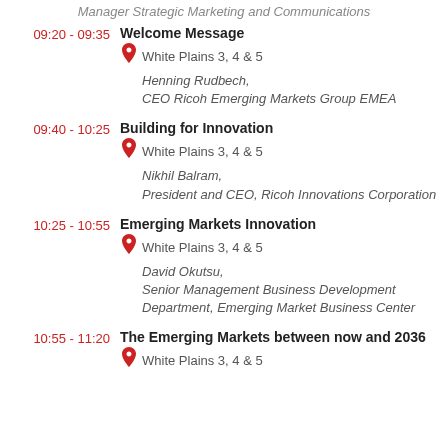Manager Strategic Marketing and Communications
09:20 - 09:35 | Welcome Message | White Plains 3, 4 & 5 | Henning Rudbech, CEO Ricoh Emerging Markets Group EMEA
09:40 - 10:25 | Building for Innovation | White Plains 3, 4 & 5 | Nikhil Balram, President and CEO, Ricoh Innovations Corporation
10:25 - 10:55 | Emerging Markets Innovation | White Plains 3, 4 & 5 | David Okutsu, Senior Management Business Development Department, Emerging Market Business Center
10:55 - 11:20 | The Emerging Markets between now and 2036 | White Plains 3, 4 & 5